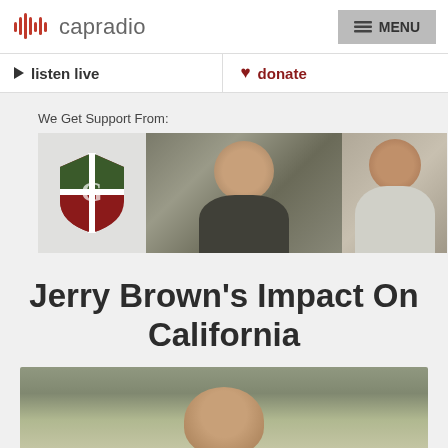capradio | MENU
listen live
donate
We Get Support From:
[Figure (photo): Sponsor banner with shield/crest logo on left, young woman in center, young man on right]
Jerry Brown's Impact On California
[Figure (photo): Photo of a person outdoors with rolling hills in background]